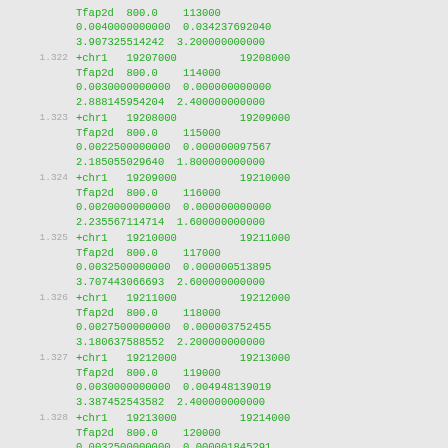Tfap2d  800.0   113000
0.0040000000000  0.034237692040
3.907325514242  3.200000000000
1.322  +chr1  19207000        19208000
Tfap2d  800.0   114000
0.0030000000000  0.000000000000
2.888145954204  2.400000000000
1.323  +chr1  19208000        19209000
Tfap2d  800.0   115000
0.0022500000000  0.000000097567
2.185055029640  1.800000000000
1.324  +chr1  19209000        19210000
Tfap2d  800.0   116000
0.0020000000000  0.000000000000
2.235567114714  1.600000000000
1.325  +chr1  19210000        19211000
Tfap2d  800.0   117000
0.0032500000000  0.000000513895
3.707443066693  2.600000000000
1.326  +chr1  19211000        19212000
Tfap2d  800.0   118000
0.0027500000000  0.000003752455
3.180637588552  2.200000000000
1.327  +chr1  19212000        19213000
Tfap2d  800.0   119000
0.0030000000000  0.004948139019
3.387452543582  2.400000000000
1.328  +chr1  19213000        19214000
Tfap2d  800.0   120000
0.0032500000000  0.000001845291
3.620646740040  2.600000000000